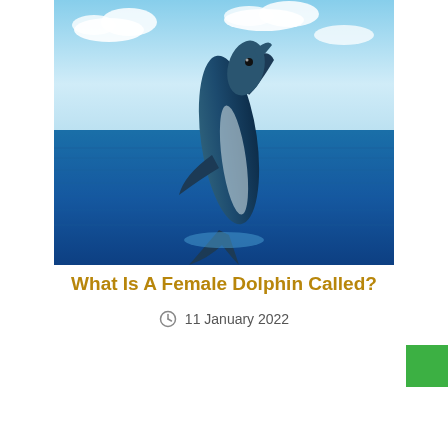[Figure (photo): A dolphin leaping out of blue ocean water against a partly cloudy sky background]
What Is A Female Dolphin Called?
11 January 2022